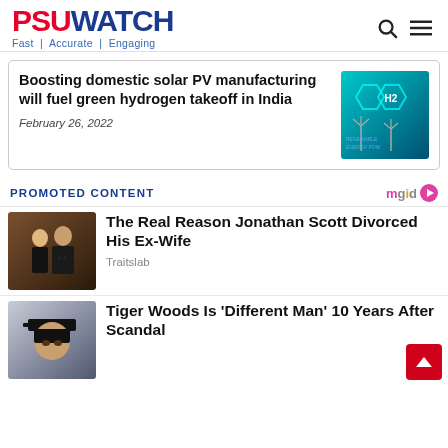PSU WATCH — Fast | Accurate | Engaging
Boosting domestic solar PV manufacturing will fuel green hydrogen takeoff in India
February 26, 2022
PROMOTED CONTENT
The Real Reason Jonathan Scott Divorced His Ex-Wife
Traitslab
Tiger Woods Is 'Different Man' 10 Years After Scandal